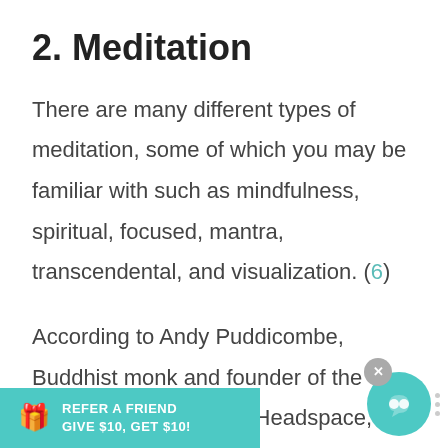2. Meditation
There are many different types of meditation, some of which you may be familiar with such as mindfulness, spiritual, focused, mantra, transcendental, and visualization. (6)
According to Andy Puddicombe, Buddhist monk and founder of the guided meditation app Headspace, about becoming a